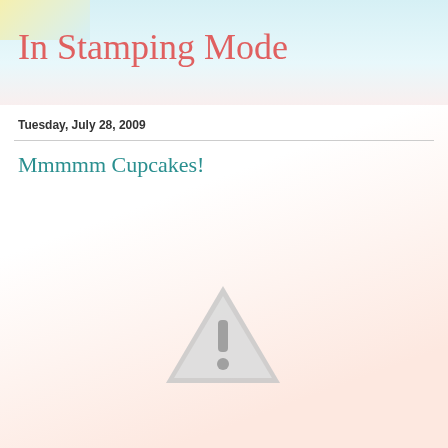In Stamping Mode
Tuesday, July 28, 2009
Mmmmm Cupcakes!
[Figure (illustration): Grey warning triangle icon with exclamation mark, indicating a missing or broken image]